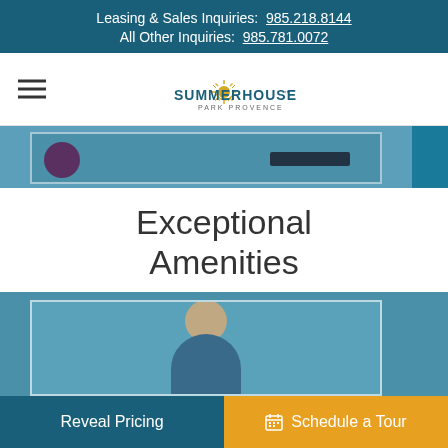Leasing & Sales Inquiries: 985.218.8144
All Other Inquiries: 985.781.0072
[Figure (logo): SummerHouse Park Provence logo with sun rays graphic above text]
[Figure (photo): Teal/blue tinted photo strip showing partial view of objects on a surface]
Exceptional Amenities
[Figure (photo): Teal/blue tinted photo showing an elderly person looking down]
Reveal Pricing   Schedule a Tour